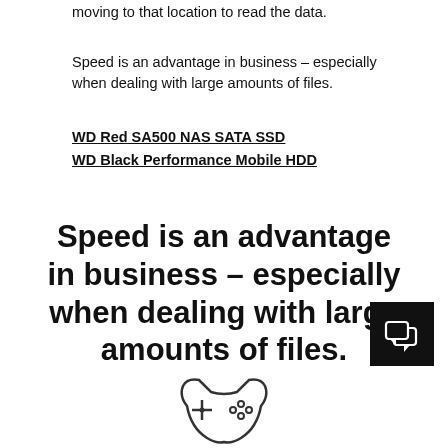moving to that location to read the data.
Speed is an advantage in business – especially when dealing with large amounts of files.
WD Red SA500 NAS SATA SSD
WD Black Performance Mobile HDD
Speed is an advantage in business – especially when dealing with large amounts of files.
[Figure (illustration): Chat/messaging icon: two overlapping speech bubbles on a black square background]
[Figure (illustration): Game controller icon outline at bottom of page]